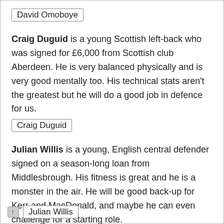David Omoboye
Craig Duguid is a young Scottish left-back who was signed for £6,000 from Scottish club Aberdeen. He is very balanced physically and is very good mentally too. His technical stats aren't the greatest but he will do a good job in defence for us.
Craig Duguid
Julian Willis is a young, English central defender signed on a season-long loan from Middlesbrough. His fitness is great and he is a monster in the air. He will be good back-up for Kerr and MacDonald, and maybe he can even challenge for a starting role.
Julian Willis